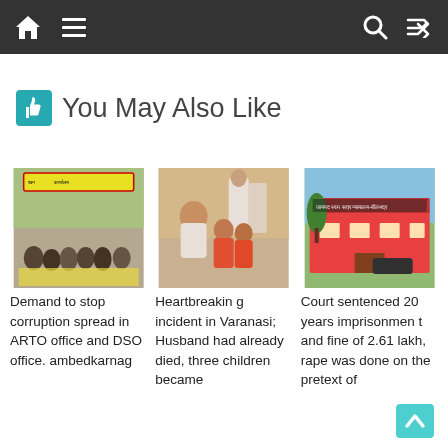Navigation bar with home, menu, search, shuffle icons
👍 You May Also Like
[Figure (photo): Group of people sitting on ground at a protest with banners in Hindi]
Demand to stop corruption spread in ARTO office and DSO office. ambedkarnag
[Figure (photo): A man crouching with two young children]
Heartbreaking incident in Varanasi; Husband had already died, three children became
[Figure (photo): A court building with Hindi text sign reading जानपद स्वम सत्र न्यायालय-बीलभद्र]
Court sentenced 20 years imprisonment and fine of 2.61 lakh, rape was done on the pretext of